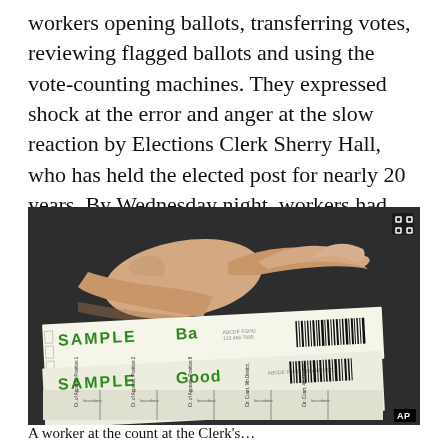workers opening ballots, transferring votes, reviewing flagged ballots and using the vote-counting machines. They expressed shock at the error and anger at the slow reaction by Elections Clerk Sherry Hall, who has held the elected post for nearly 20 years. By Wednesday night, workers had counted 15,649.
[Figure (photo): A hand pointing at two sample ballots on a dark surface. The ballots have green handwritten 'SAMPLE' text at the top and barcodes. Below are ballot columns with small text labels for Court of Appeals positions and districts.]
A worker at the count at the Clerk's...